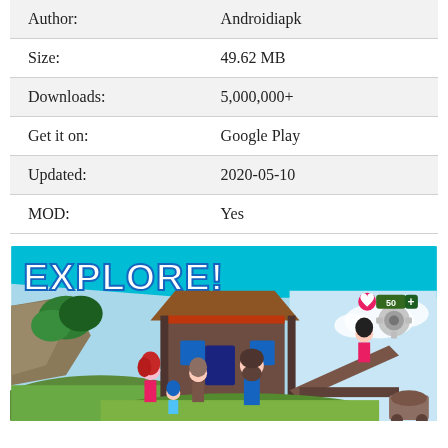| Field | Value |
| --- | --- |
| Author: | Androidiapk |
| Size: | 49.62 MB |
| Downloads: | 5,000,000+ |
| Get it on: | Google Play |
| Updated: | 2020-05-10 |
| MOD: | Yes |
[Figure (screenshot): Game screenshot showing 'EXPLORE!' text on a cyan banner with a tropical island building scene featuring animated characters, trees, and a wooden structure]